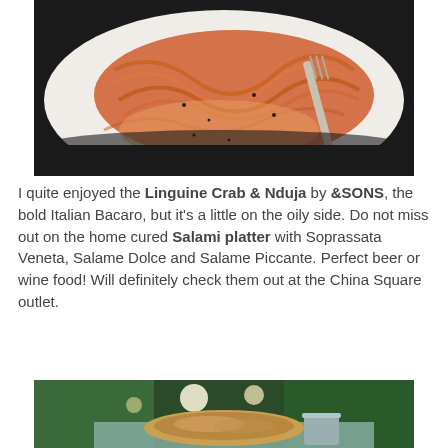[Figure (photo): Close-up photo of Linguine Crab & Nduja pasta dish on a white plate, orange/red sauce with black pepper, fork visible]
I quite enjoyed the Linguine Crab & Nduja by &SONS, the bold Italian Bacaro, but it's a little on the oily side. Do not miss out on the home cured Salami platter with Soprassata Veneta, Salame Dolce and Salame Piccante. Perfect beer or wine food! Will definitely check them out at the China Square outlet.
[Figure (photo): Restaurant interior with green decor and lighting, food dish visible in foreground on a table]